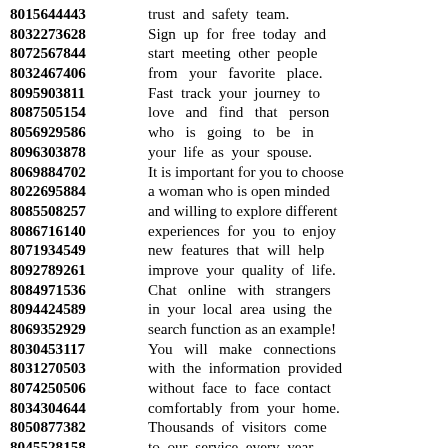8015644443 trust and safety team. 8032273628 Sign up for free today and 8072567844 start meeting other people 8032467406 from your favorite place. 8095903811 Fast track your journey to 8087505154 love and find that person 8056929586 who is going to be in 8096303878 your life as your spouse. 8069884702 It is important for you to choose 8022695884 a woman who is open minded 8085508257 and willing to explore different 8086716140 experiences for you to enjoy 8071934549 new features that will help 8092789261 improve your quality of life. 8084971536 Chat online with strangers 8094424589 in your local area using the 8069352929 search function as an example! 8030453117 You will make connections 8031270503 with the information provided 8074250506 without face to face contact 8034304644 comfortably from your home. 8050877382 Thousands of visitors come 8045528158 to our service every year. 8081408939 8033351797 Dating site is one of the